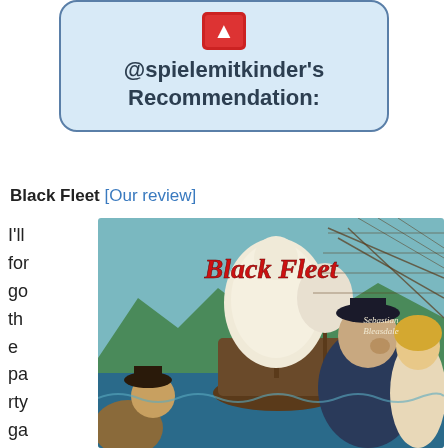@spielemitkinder's Recommendation:
Black Fleet [Our review]
I'll for go the pa rty ga me
[Figure (illustration): Black Fleet board game box cover art showing a large sailing ship with white sails, pirate characters in the foreground including a large pirate captain and a blonde woman, with the title 'Black Fleet' in red script lettering and 'Sebastian Bleasdale' as author name]